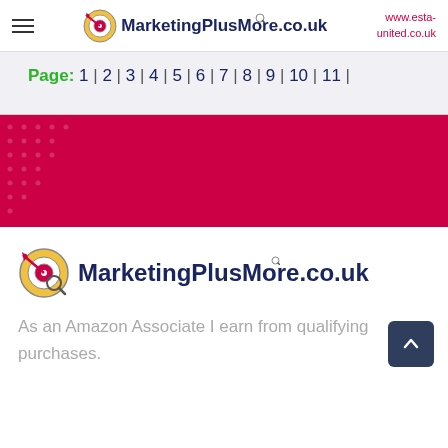MarketingPlusMore.co.uk | www.esta-united.co.uk
Page: 1 | 2 | 3 | 4 | 5 | 6 | 7 | 8 | 9 | 10 | 11 |
[Figure (other): Red crimson banner with decorative dot pattern on left side]
[Figure (logo): MarketingPlusMore.co.uk logo with dart board and magnifying glass icon]
As an Amazon Associate I earn from qualifying purchases.